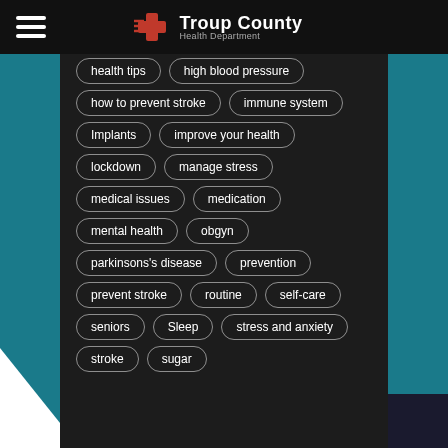Troup County Health Department
health tips
high blood pressure
how to prevent stroke
immune system
Implants
improve your health
lockdown
manage stress
medical issues
medication
mental health
obgyn
parkinsons's disease
prevention
prevent stroke
routine
self-care
seniors
Sleep
stress and anxiety
stroke
sugar